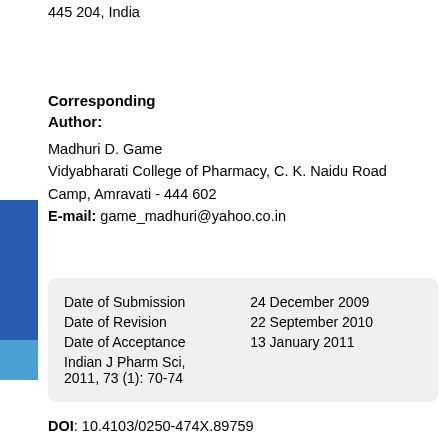445 204, India
Corresponding Author:
Madhuri D. Game
Vidyabharati College of Pharmacy, C. K. Naidu Road Camp, Amravati - 444 602
E-mail: game_madhuri@yahoo.co.in
| Date of Submission | 24 December 2009 |
| Date of Revision | 22 September 2010 |
| Date of Acceptance | 13 January 2011 |
| Indian J Pharm Sci, 2011, 73 (1): 70-74 |  |
DOI: 10.4103/0250-474X.89759